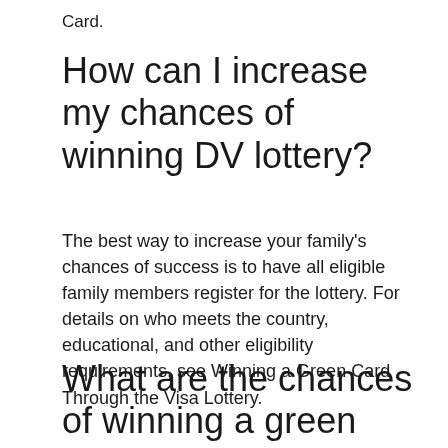Card.
How can I increase my chances of winning DV lottery?
The best way to increase your family's chances of success is to have all eligible family members register for the lottery. For details on who meets the country, educational, and other eligibility requirements, see Winning a Green Card Through the Visa Lottery.
What are the chances of winning a green card lottery?